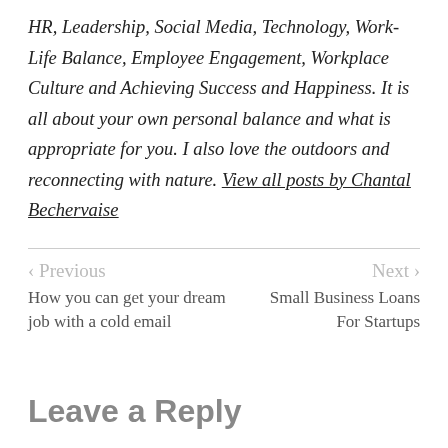HR, Leadership, Social Media, Technology, Work-Life Balance, Employee Engagement, Workplace Culture and Achieving Success and Happiness. It is all about your own personal balance and what is appropriate for you. I also love the outdoors and reconnecting with nature. View all posts by Chantal Bechervaise
< Previous
How you can get your dream job with a cold email
Next >
Small Business Loans For Startups
Leave a Reply